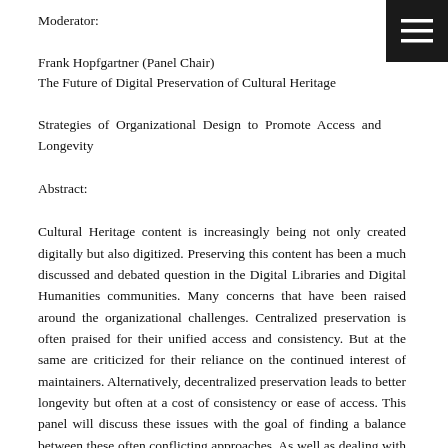Moderator:
Frank Hopfgartner (Panel Chair)
The Future of Digital Preservation of Cultural Heritage
Strategies of Organizational Design to Promote Access and Longevity
Abstract:
Cultural Heritage content is increasingly being not only created digitally but also digitized. Preserving this content has been a much discussed and debated question in the Digital Libraries and Digital Humanities communities. Many concerns that have been raised around the organizational challenges. Centralized preservation is often praised for their unified access and consistency. But at the same are criticized for their reliance on the continued interest of maintainers. Alternatively, decentralized preservation leads to better longevity but often at a cost of consistency or ease of access. This panel will discuss these issues with the goal of finding a balance between these often conflicting approaches. As well as dealing with issues of privacy